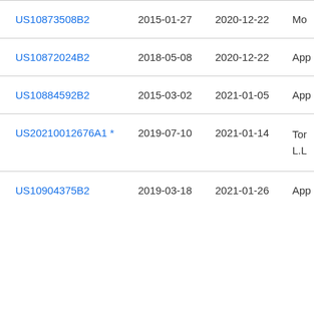| Patent Number | Filed | Published | Assignee |
| --- | --- | --- | --- |
| US10873508B2 | 2015-01-27 | 2020-12-22 | Mo |
| US10872024B2 | 2018-05-08 | 2020-12-22 | App |
| US10884592B2 | 2015-03-02 | 2021-01-05 | App |
| US20210012676A1 * | 2019-07-10 | 2021-01-14 | Tor L.L |
| US10904375B2 | 2019-03-18 | 2021-01-26 | App |